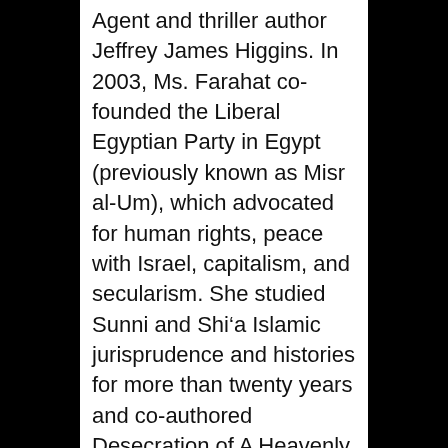Agent and thriller author Jeffrey James Higgins. In 2003, Ms. Farahat co-founded the Liberal Egyptian Party in Egypt (previously known as Misr al-Um), which advocated for human rights, peace with Israel, capitalism, and secularism. She studied Sunni and Shi'a Islamic jurisprudence and histories for more than twenty years and co-authored Desecration of A Heavenly Religion (in Arabic) in 2008. For her efforts, Al-Azhar University banned her book for its criticism of Egypt's blasphemy law. She was banned from Lebanon and landed on the hit list of an Qaeda-affiliated group in Egypt. After her brother was tortured